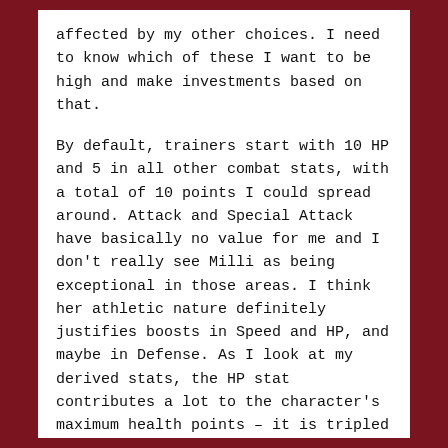affected by my other choices. I need to know which of these I want to be high and make investments based on that.

By default, trainers start with 10 HP and 5 in all other combat stats, with a total of 10 points I could spread around. Attack and Special Attack have basically no value for me and I don't really see Milli as being exceptional in those areas. I think her athletic nature definitely justifies boosts in Speed and HP, and maybe in Defense. As I look at my derived stats, the HP stat contributes a lot to the character's maximum health points – it is tripled before being factored in. The higher that number, the more Milli can handle.